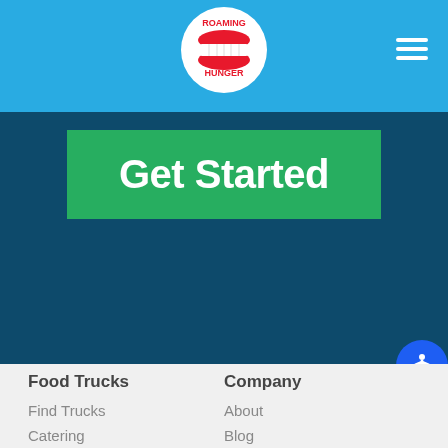Roaming Hunger - header navigation bar with logo and hamburger menu
[Figure (logo): Roaming Hunger logo with red lips/teeth icon and text ROAMING HUNGER]
Get Started
Food Trucks
Find Trucks
Catering
Marketplace
Vendors
Experiential Marketing Agency
Company
About
Blog
Press